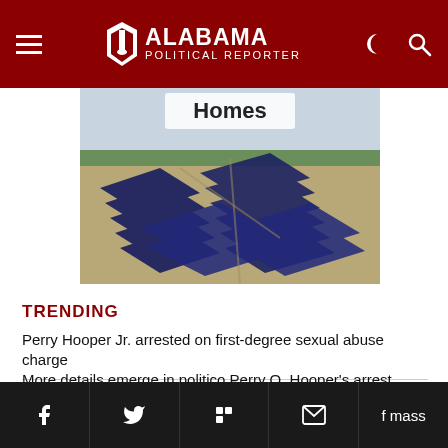Alabama Political Reporter
[Figure (photo): Aerial view of a large solar panel farm with the word 'Homes' visible at the top of the image]
TRENDING
Perry Hooper Jr. arrested on first-degree sexual abuse charge
More details emerge in politico Perry O. Hooper's arrest
...f mass
Share bar with Facebook, Twitter, Flipboard, Email icons